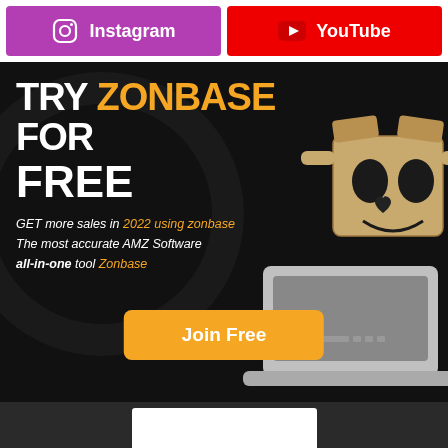[Figure (other): Instagram button (pink/purple background) with Instagram icon and bold white text 'Instagram']
[Figure (other): YouTube button (red background) with YouTube play icon and bold white text 'YouTube']
[Figure (other): Dark promotional banner with text 'TRY ZONBASE FOR FREE', subtext 'GET more sales in 2022 using zonbase The most accurate AMZ Software all-in-one tool Zonbase', an orange 'Join Free' button, and a cartoon cardboard robot character with a laptop]
TRY ZONBASE FOR FREE
GET more sales in 2022 using zonbase The most accurate AMZ Software all-in-one tool Zonbase
Join Free